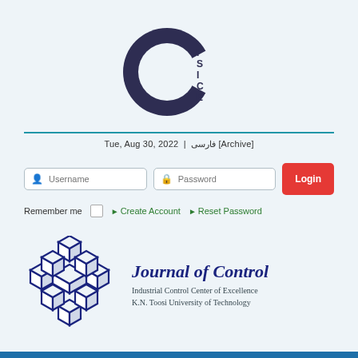[Figure (logo): CISICE logo — a dark navy circle with a wedge cut out forming a C shape, with letters I, S, I, C, E arranged vertically on the right side]
Tue, Aug 30, 2022  |  فارسی [Archive]
[Figure (screenshot): Login form with Username input, Password input, and Login button]
Remember me  □  ▶ Create Account  ▶ Reset Password
[Figure (logo): Journal of Control logo — geometric interlocking cube pattern in dark navy blue]
Journal of Control
Industrial Control Center of Excellence
K.N. Toosi University of Technology